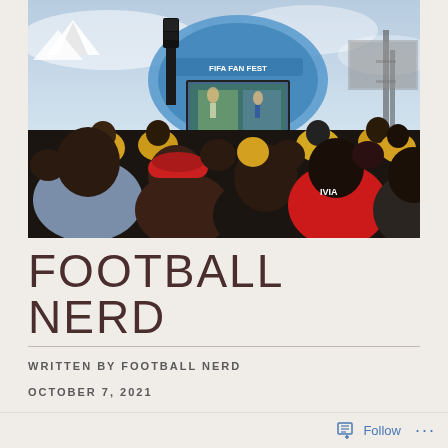[Figure (photo): Crowd of football fans viewed from behind, watching a large outdoor screen at a fan zone. People wearing colorful jerseys including yellow Brazil shirts and a red Bolivia shirt. A large screen with a football match and a FIFA Fan Fest branded arch structure are visible in the background under a hazy sky with white tents.]
FOOTBALL NERD
WRITTEN BY FOOTBALL NERD
OCTOBER 7, 2021